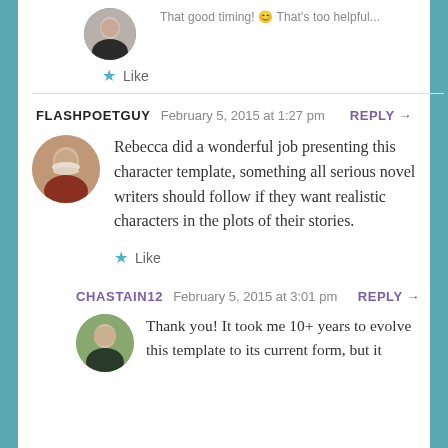[Figure (photo): Circular avatar photo of a woman at top of page (partial, cropped)]
Like
FLASHPOETGUY   February 5, 2015 at 1:27 pm   REPLY →
[Figure (photo): Circular avatar photo of an older man with white beard]
Rebecca did a wonderful job presenting this character template, something all serious novel writers should follow if they want realistic characters in the plots of their stories.
Like
CHASTAIN12   February 5, 2015 at 3:01 pm   REPLY →
[Figure (photo): Circular avatar photo of a woman with light hair]
Thank you! It took me 10+ years to evolve this template to its current form, but it